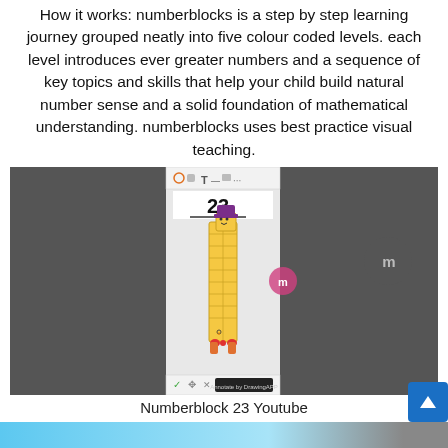How it works: numberblocks is a step by step learning journey grouped neatly into five colour coded levels. each level introduces ever greater numbers and a sequence of key topics and skills that help your child build natural number sense and a solid foundation of mathematical understanding. numberblocks uses best practice visual teaching.
[Figure (screenshot): Screenshot showing Numberblock 23 character from the Numberblocks YouTube channel, displayed within a tablet or app interface. The cartoon block character is tall with a purple hat and red bow, showing the number 23 written above it.]
Numberblock 23 Youtube